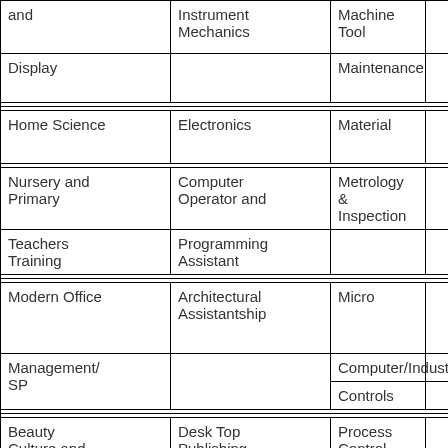| and | Instrument Mechanics | Machine Tool |
| Display |  | Maintenance |
| Home Science | Electronics | Material |
| Nursery and Primary | Computer Operator and | Metrology & Inspection |
| Teachers Training | Programming Assistant |  |
| Modern Office | Architectural Assistantship | Micro |
| Management/ SP |  | Computer/Industrial |
|  |  | Controls |
| Beauty Culture and | Desk Top Publishing | Process Control |
| Hair Dressing | Operator | Instrumentation |